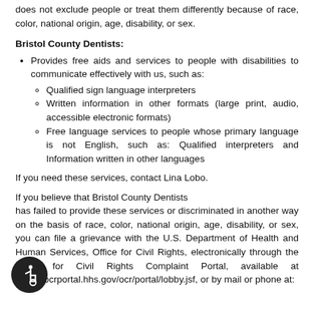does not exclude people or treat them differently because of race, color, national origin, age, disability, or sex.
Bristol County Dentists:
Provides free aids and services to people with disabilities to communicate effectively with us, such as:
Qualified sign language interpreters
Written information in other formats (large print, audio, accessible electronic formats)
Free language services to people whose primary language is not English, such as: Qualified interpreters and Information written in other languages
If you need these services, contact Lina Lobo.
If you believe that Bristol County Dentists has failed to provide these services or discriminated in another way on the basis of race, color, national origin, age, disability, or sex, you can file a grievance with the U.S. Department of Health and Human Services, Office for Civil Rights, electronically through the Office for Civil Rights Complaint Portal, available at https://ocrportal.hhs.gov/ocr/portal/lobby.jsf, or by mail or phone at: